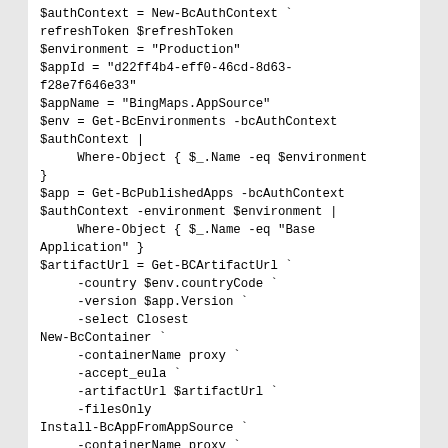$authContext = New-BcAuthContext `
refreshToken $refreshToken
$environment = "Production"
$appId = "d22ff4b4-eff0-46cd-8d63-f28e7f646e33"
$appName = "BingMaps.AppSource"
$env = Get-BcEnvironments -bcAuthContext $authContext |
     Where-Object { $_.Name -eq $environment
}
$app = Get-BcPublishedApps -bcAuthContext $authContext -environment $environment |
     Where-Object { $_.Name -eq "Base Application" }
$artifactUrl = Get-BCArtifactUrl `
     -country $env.countryCode `
     -version $app.Version `
     -select Closest
New-BcContainer `
     -containerName proxy `
     -accept_eula `
     -artifactUrl $artifactUrl `
     -filesOnly
Install-BcAppFromAppSource `
     -containerName proxy `
     -bcAuthContext $authContext `
     -environment $environment `
     -appId $appId `
     -appName $appName `
     -allowInstallationOnProduction
Remove-BcContainer `